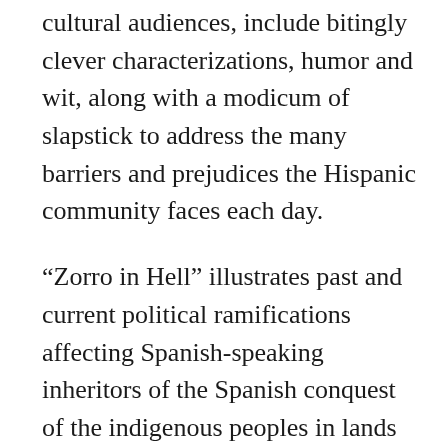cultural audiences, include bitingly clever characterizations, humor and wit, along with a modicum of slapstick to address the many barriers and prejudices the Hispanic community faces each day.
“Zorro in Hell” illustrates past and current political ramifications affecting Spanish-speaking inheritors of the Spanish conquest of the indigenous peoples in lands now known as Mexico, California, Arizona, New Mexico, Florida, and Texas. Their work also touches on the more recent Latino diaspora to New York City, Los Angeles, and Miami, and to the agricultural fields outside of California, but all